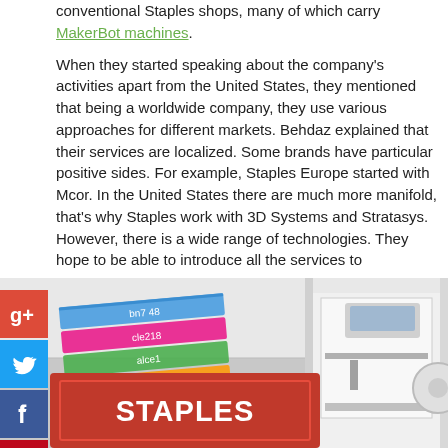conventional Staples shops, many of which carry MakerBot machines.
When they started speaking about the company's activities apart from the United States, they mentioned that being a worldwide company, they use various approaches for different markets. Behdaz explained that their services are localized. Some brands have particular positive sides. For example, Staples Europe started with Mcor. In the United States there are much more manifold, that's why Staples work with 3D Systems and Stratasys. However, there is a wide range of technologies. They hope to be able to introduce all the services to consumers.
[Figure (photo): Photo of a Staples retail store display with colorful stacked items/binders on the left and a 3D printer (likely Stratasys or similar) on the right, with a red Staples branded box in the foreground.]